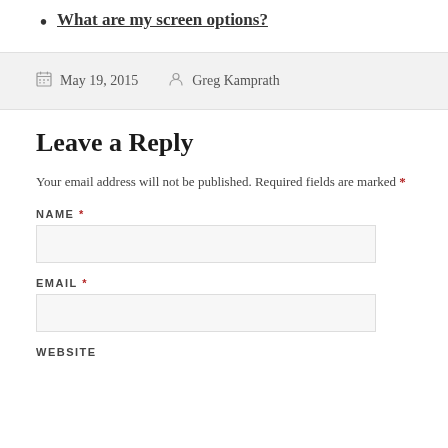What are my screen options?
May 19, 2015   Greg Kamprath
Leave a Reply
Your email address will not be published. Required fields are marked *
NAME *
EMAIL *
WEBSITE